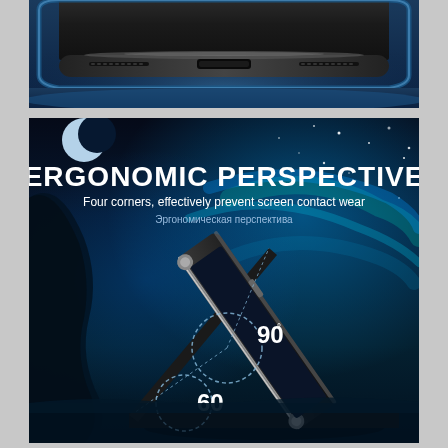[Figure (photo): Close-up photo of the bottom edge of a smartphone, showing ports and speakers, with a blue/dark reflective phone case visible]
[Figure (infographic): Product infographic on dark blue starry background showing a smartphone flip case propped at 90 degrees and 60 degrees stand angles. Large white bold text reads 'ERGONOMIC PERSPECTIVE', subtext 'Four corners, effectively prevent screen contact wear', Russian text 'Эргономическая перспектива'. Dashed circle angle indicators show 90° and 60° viewing angles.]